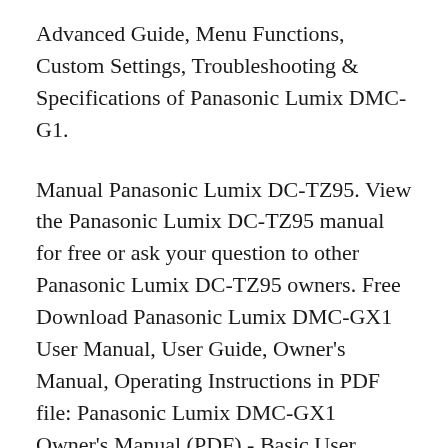Advanced Guide, Menu Functions, Custom Settings, Troubleshooting & Specifications of Panasonic Lumix DMC-G1.
Manual Panasonic Lumix DC-TZ95. View the Panasonic Lumix DC-TZ95 manual for free or ask your question to other Panasonic Lumix DC-TZ95 owners. Free Download Panasonic Lumix DMC-GX1 User Manual, User Guide, Owner's Manual, Operating Instructions in PDF file: Panasonic Lumix DMC-GX1 Owner's Manual (PDF) - Basic User Manual, English. Panasonic Lumix DMC-GX1 Advanced User Manual (PDF) - ...
Manual Panasonic Lumix DC-TZ95. View the Panasonic Lumix DC-TZ95 manual for free or ask your question to other Panasonic Lumix DC-TZ95...